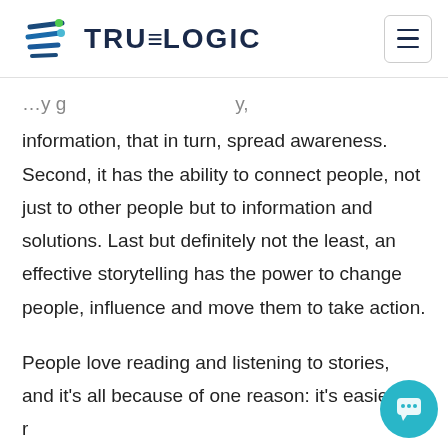TRUELOGIC
information, that in turn, spread awareness. Second, it has the ability to connect people, not just to other people but to information and solutions. Last but definitely not the least, an effective storytelling has the power to change people, influence and move them to take action.
People love reading and listening to stories, and it's all because of one reason: it's easier to r… to a story.